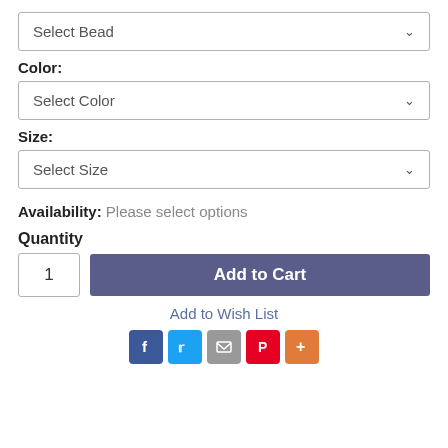Select Bead
Color:
Select Color
Size:
Select Size
Availability: Please select options
Quantity
1
Add to Cart
Add to Wish List
[Figure (infographic): Social sharing icons: Facebook (blue), Twitter (light blue), Email (grey), Pinterest (red), Plus/More (orange)]